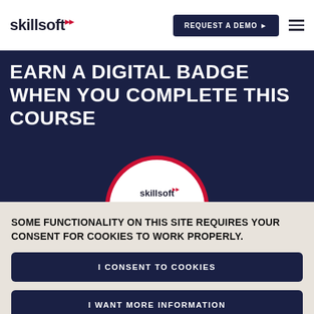skillsoft
EARN A DIGITAL BADGE WHEN YOU COMPLETE THIS COURSE
[Figure (logo): Skillsoft digital badge circular icon with a red border, skillsoft logo at top, and a red shield with star icon in the lower half on a light pink background]
SOME FUNCTIONALITY ON THIS SITE REQUIRES YOUR CONSENT FOR COOKIES TO WORK PROPERLY.
I CONSENT TO COOKIES
I WANT MORE INFORMATION